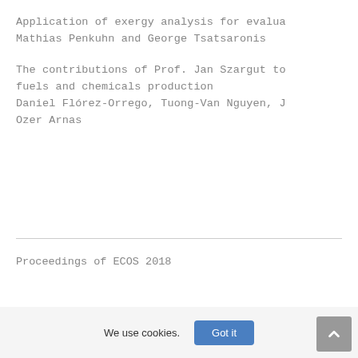Application of exergy analysis for evalua
Mathias Penkuhn and George Tsatsaronis
The contributions of Prof. Jan Szargut to fuels and chemicals production
Daniel Flórez-Orrego, Tuong-Van Nguyen, J Ozer Arnas
Proceedings of ECOS 2018
We use cookies.